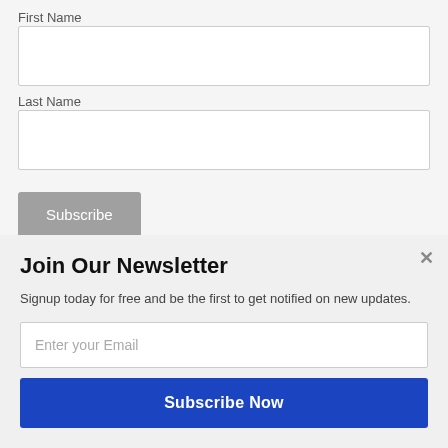First Name
Last Name
Subscribe
Popular Tags
academic book academic book week
Join Our Newsletter
Signup today for free and be the first to get notified on new updates.
Enter your Email
Subscribe Now